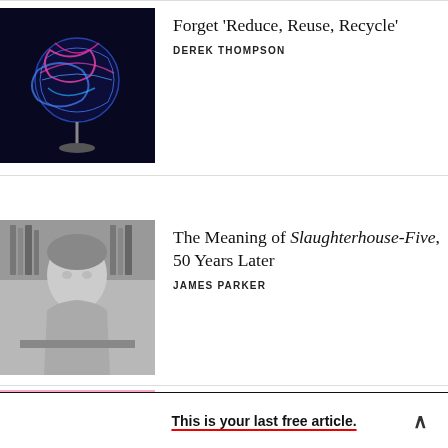[Figure (photo): Glowing blue and pink striped globe on a stand against dark background]
Forget ‘Reduce, Reuse, Recycle’
DEREK THOMPSON
[Figure (photo): Black and white photo of a man seated at a desk]
The Meaning of Slaughterhouse-Five, 50 Years Later
JAMES PARKER
[Figure (illustration): Colorful illustration of people in a pink scene with a tree]
Why So Many People Are Unhappy in Retirement
This is your last free article.